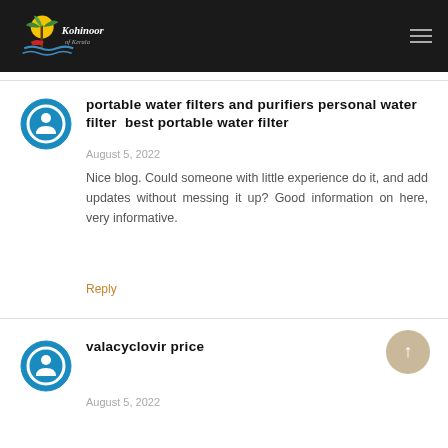Kohinoor of Kerala
portable water filters and purifiers personal water filter  best portable water filter
August 5, 2022
Nice blog. Could someone with little experience do it, and add updates without messing it up? Good information on here, very informative.
Reply
valacyclovir price
August 5, 2022